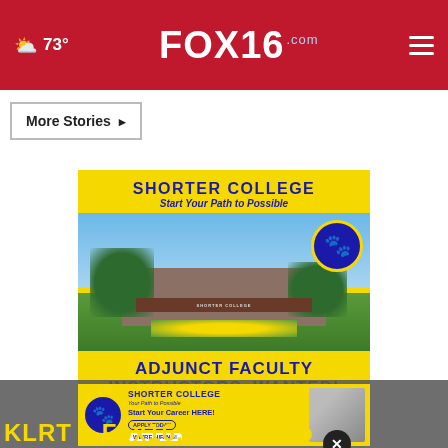73° FOX16.com
More Stories ▶
[Figure (advertisement): Shorter College advertisement: 'Start Your Path to Possible' with campus photo, mascot logo, 'ADJUNCT FACULTY INSTRUCTORS WANTED!' and 'APPLY TODAY' / 'We're Hiring!' buttons and social media icons]
[Figure (advertisement): Shorter College bottom strip ad: logo, 'Start Your Career HERE!', 'APPLY TODAY', 'WE'RE HIRING', and a photo of a person]
KLRT – Fox16.com Video